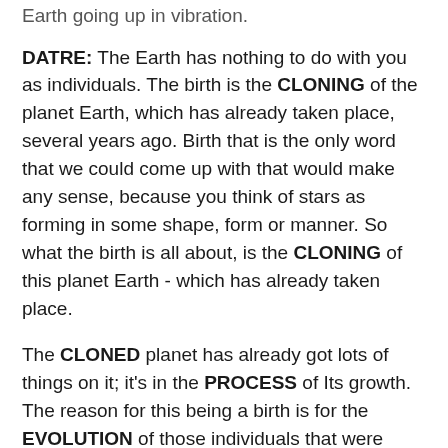Earth going up in vibration.
DATRE: The Earth has nothing to do with you as individuals. The birth is the CLONING of the planet Earth, which has already taken place, several years ago. Birth that is the only word that we could come up with that would make any sense, because you think of stars as forming in some shape, form or manner. So what the birth is all about, is the CLONING of this planet Earth - which has already taken place.
The CLONED planet has already got lots of things on it; it's in the PROCESS of Its growth. The reason for this being a birth is for the EVOLUTION of those individuals that were 'here' on THIS planet and their evolution was interrupted when the OTHER bumped into this BUBBLE. So, 'their' evolution was changed. But in order to continue their evolution and for BOTH of the types